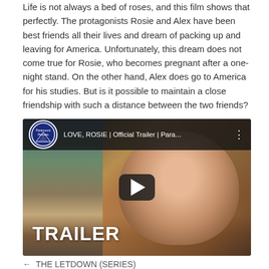Life is not always a bed of roses, and this film shows that perfectly. The protagonists Rosie and Alex have been best friends all their lives and dream of packing up and leaving for America. Unfortunately, this dream does not come true for Rosie, who becomes pregnant after a one-night stand. On the other hand, Alex does go to America for his studies. But is it possible to maintain a close friendship with such a distance between the two friends?
[Figure (screenshot): YouTube video thumbnail for 'LOVE, ROSIE | Official Trailer | Para...' showing a woman with long brown hair smiling, with a green landscape background. A dark play button is overlaid in the center, and 'TRAILER' text appears at the bottom left. The Paramount Pictures logo appears in the top left corner.]
← THE LETDOWN (SERIES)